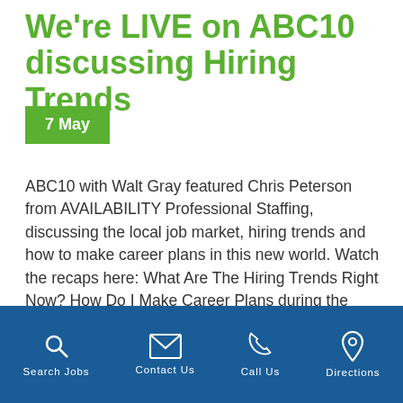We're LIVE on ABC10 discussing Hiring Trends
7 May
ABC10 with Walt Gray featured Chris Peterson from AVAILABILITY Professional Staffing, discussing the local job market, hiring trends and how to make career plans in this new world. Watch the recaps here: What Are The Hiring Trends Right Now? How Do I Make Career Plans during the Coronavirus Outbreak?
Share this:
Search Jobs | Contact Us | Call Us | Directions